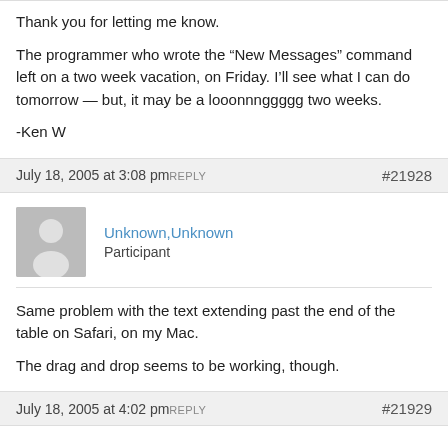Thank you for letting me know.

The programmer who wrote the “New Messages” command left on a two week vacation, on Friday. I’ll see what I can do tomorrow — but, it may be a looonnnggggg two weeks.

-Ken W
July 18, 2005 at 3:08 pm REPLY #21928
Unknown,Unknown
Participant
Same problem with the text extending past the end of the table on Safari, on my Mac.

The drag and drop seems to be working, though.
July 18, 2005 at 4:02 pm REPLY #21929